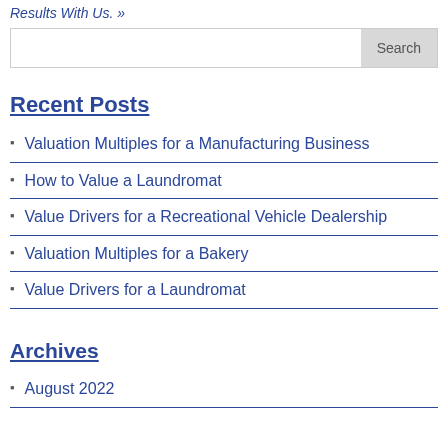Results With Us. »
Search
Recent Posts
Valuation Multiples for a Manufacturing Business
How to Value a Laundromat
Value Drivers for a Recreational Vehicle Dealership
Valuation Multiples for a Bakery
Value Drivers for a Laundromat
Archives
August 2022